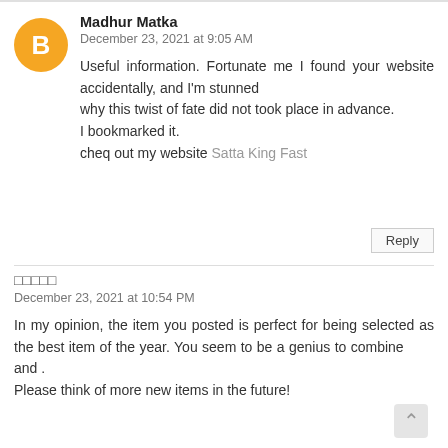[Figure (illustration): Orange circle avatar with white blogger 'B' icon]
Madhur Matka
December 23, 2021 at 9:05 AM
Useful information. Fortunate me I found your website accidentally, and I’m stunned why this twist of fate did not took place in advance. I bookmarked it.
cheq out my website Satta King Fast
Reply
□□□□□
December 23, 2021 at 10:54 PM
In my opinion, the item you posted is perfect for being selected as the best item of the year. You seem to be a genius to combine       and . Please think of more new items in the future!